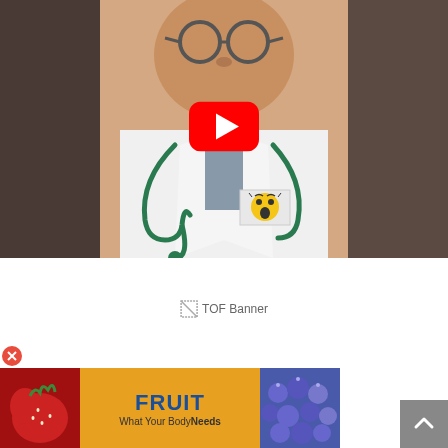[Figure (photo): A doctor wearing a white lab coat with a green stethoscope, glasses, with a YouTube play button overlay and a surprised face emoji on the coat pocket]
[Figure (screenshot): TOF Banner advertisement area with text '[TOF Banner]' and a fruit advertisement banner showing strawberry, text 'FRUIT What Your Body Needs', and blueberries]